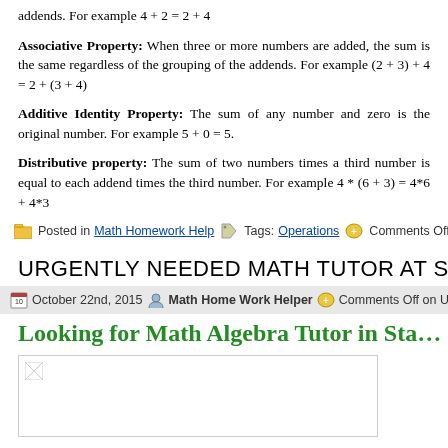addends. For example 4 + 2 = 2 + 4
Associative Property: When three or more numbers are added, the sum is the same regardless of the grouping of the addends. For example (2 + 3) + 4 = 2 + (3 + 4)
Additive Identity Property: The sum of any number and zero is the original number. For example 5 + 0 = 5.
Distributive property: The sum of two numbers times a third number is equal to each addend times the third number. For example 4 * (6 + 3) = 4*6 + 4*3
Posted in Math Homework Help  Tags: Operations  Comments Off on Comm...
URGENTLY NEEDED MATH TUTOR AT STA...
October 22nd, 2015  Math Home Work Helper  Comments Off on URGEN... STAMFORD!!!
Looking for Math Algebra Tutor in Sta...
[Figure (photo): Broken image placeholder for math tutor article]